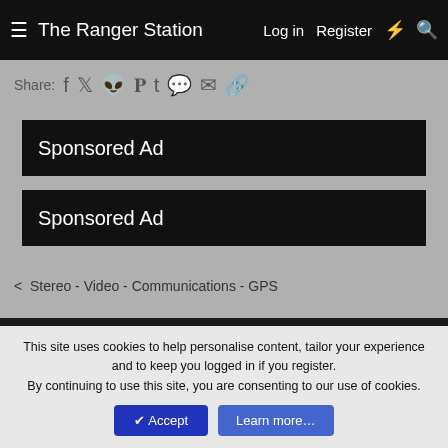The Ranger Station  Log in  Register
Share:
[Figure (screenshot): Sponsored Ad black banner 1]
[Figure (screenshot): Sponsored Ad black banner 2]
< Stereo - Video - Communications - GPS
TRS Style - White With Black
MaverickTruckin.com  BroncoCorral.com  BlueOvalTrucks.com  Forum Staff  Advertise / Sell Here  Contact us  Terms and rules  Privacy policy  Help  Home
Forum software by XenForo® © 2010-2020 XenForo Ltd.
This site uses cookies to help personalise content, tailor your experience and to keep you logged in if you register.
By continuing to use this site, you are consenting to our use of cookies.